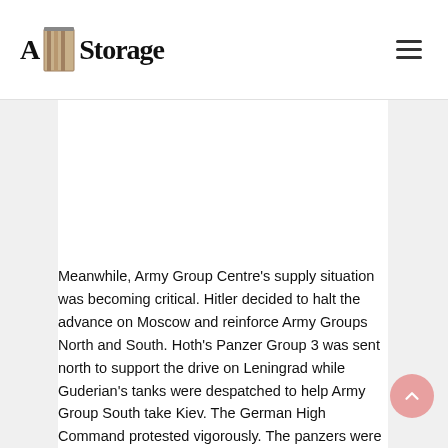A&Storage
Meanwhile, Army Group Centre's supply situation was becoming critical. Hitler decided to halt the advance on Moscow and reinforce Army Groups North and South. Hoth's Panzer Group 3 was sent north to support the drive on Leningrad while Guderian's tanks were despatched to help Army Group South take Kiev. The German High Command protested vigorously. The panzers were only 220